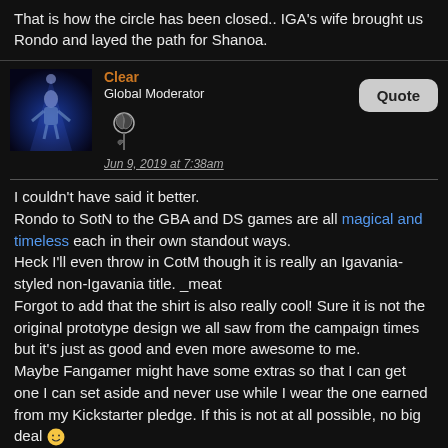That is how the circle has been closed.. IGA's wife brought us Rondo and layed the path for Shanoa.
Clear
Global Moderator
Jun 9, 2019 at 7:38am
I couldn't have said it better.
Rondo to SotN to the GBA and DS games are all magical and timeless each in their own standout ways.
Heck I'll even throw in CotM though it is really an Igavania-styled non-Igavania title. _meat
Forgot to add that the shirt is also really cool! Sure it is not the original prototype design we all saw from the campaign times but it's just as good and even more awesome to me.
Maybe Fangamer might have some extras so that I can get one I can set aside and never use while I wear the one earned from my Kickstarter pledge. If this is not at all possible, no big deal 🙂
Enkeria